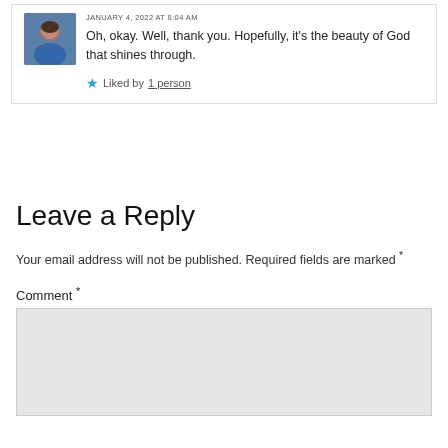JANUARY 4, 2022 AT 8:04 AM
Oh, okay. Well, thank you. Hopefully, it's the beauty of God that shines through.
★ Liked by 1 person
Leave a Reply
Your email address will not be published. Required fields are marked *
Comment *